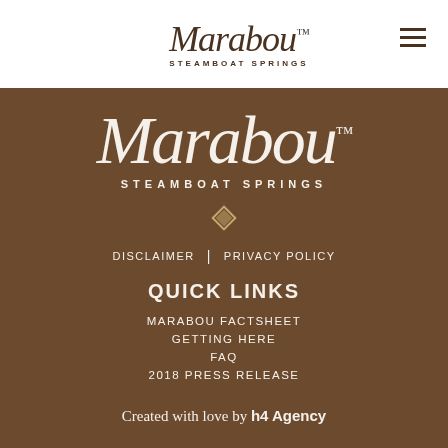[Figure (logo): Marabou Steamboat Springs script logo with hamburger menu icon in page header]
[Figure (logo): Large Marabou Steamboat Springs script logo in footer section on brown background]
DISCLAIMER | PRIVACY POLICY
QUICK LINKS
MARABOU FACTSHEET
GETTING HERE
FAQ
2018 PRESS RELEASE
Created with love by h4 Agency